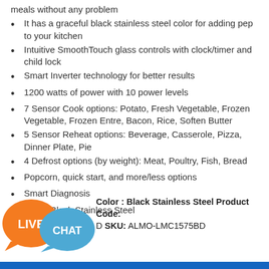meals without any problem
It has a graceful black stainless steel color for adding pep to your kitchen
Intuitive SmoothTouch glass controls with clock/timer and child lock
Smart Inverter technology for better results
1200 watts of power with 10 power levels
7 Sensor Cook options: Potato, Fresh Vegetable, Frozen Vegetable, Frozen Entre, Bacon, Rice, Soften Butter
5 Sensor Reheat options: Beverage, Casserole, Pizza, Dinner Plate, Pie
4 Defrost options (by weight): Meat, Poultry, Fish, Bread
Popcorn, quick start, and more/less options
Smart Diagnosis
Color: Black Stainless Steel
Color : Black Stainless Steel Product Code: [D] SKU: ALMO-LMC1575BD
[Figure (illustration): Live Chat badge with orange bubble labeled LIVE and blue bubble labeled CHAT]